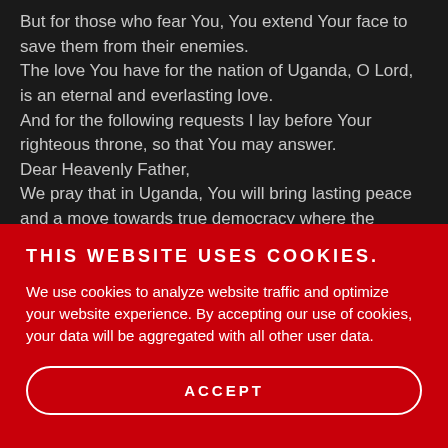But for those who fear You, You extend Your face to save them from their enemies. The love You have for the nation of Uganda, O Lord, is an eternal and everlasting love. And for the following requests I lay before Your righteous throne, so that You may answer. Dear Heavenly Father, We pray that in Uganda, You will bring lasting peace and a move towards true democracy where the
THIS WEBSITE USES COOKIES.
We use cookies to analyze website traffic and optimize your website experience. By accepting our use of cookies, your data will be aggregated with all other user data.
ACCEPT